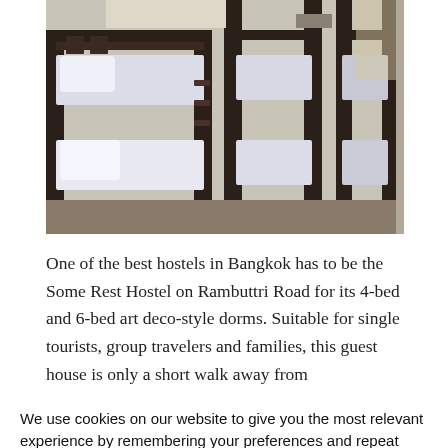[Figure (photo): Interior of a hostel dormitory room showing bunk beds with white linens and dark wooden frames]
One of the best hostels in Bangkok has to be the Some Rest Hostel on Rambuttri Road for its 4-bed and 6-bed art deco-style dorms. Suitable for single tourists, group travelers and families, this guest house is only a short walk away from
We use cookies on our website to give you the most relevant experience by remembering your preferences and repeat visits. By clicking "Accept", you consent to the use of ALL the cookies.
Do not sell my personal information.